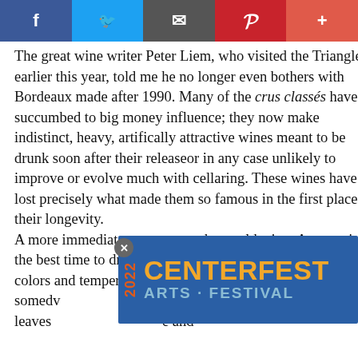Social share bar: Facebook, Twitter, Email, Pinterest, Plus
The great wine writer Peter Liem, who visited the Triangle earlier this year, told me he no longer even bothers with Bordeaux made after 1990. Many of the crus classés have succumbed to big money influence; they now make indistinct, heavy, artifically attractive wines meant to be drunk soon after their releaseor in any case unlikely to improve or evolve much with cellaring. These wines have lost precisely what made them so famous in the first place: their longevity.
A more immediate reason to seek out old wine: Autumn is the best time to drink it. As leaves turn and fall, and as colors and temperatures fade, it's time to... ght somet... pe on the vin... f dried leaves ... e and
[Figure (other): 2022 Centerfest Arts Festival advertisement banner overlay with close button]